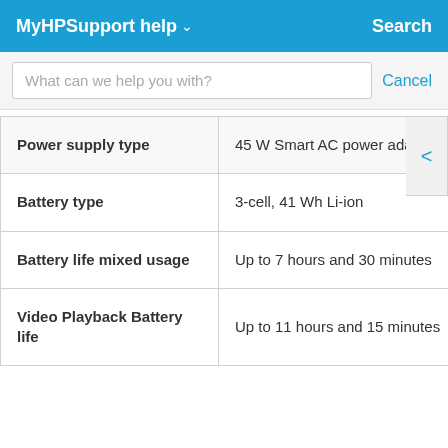MyHPSupport help  Search
What can we help you with?   Cancel
| Power supply type | 45 W Smart AC power adapter |
| Battery type | 3-cell, 41 Wh Li-ion |
| Battery life mixed usage | Up to 7 hours and 30 minutes |
| Video Playback Battery life | Up to 11 hours and 15 minutes |